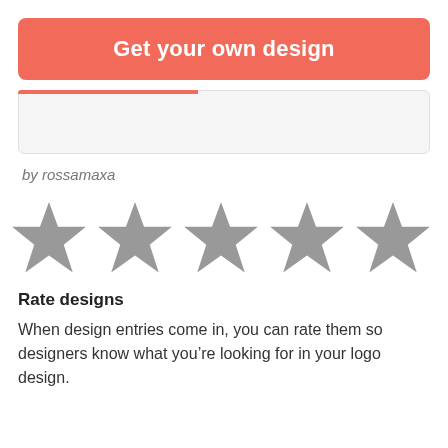Get your own design
[Figure (screenshot): Empty card area with red top border accent]
by rossamaxa
[Figure (infographic): Five grey star rating icons in a row (unselected/empty stars)]
Rate designs
When design entries come in, you can rate them so designers know what you’re looking for in your logo design.